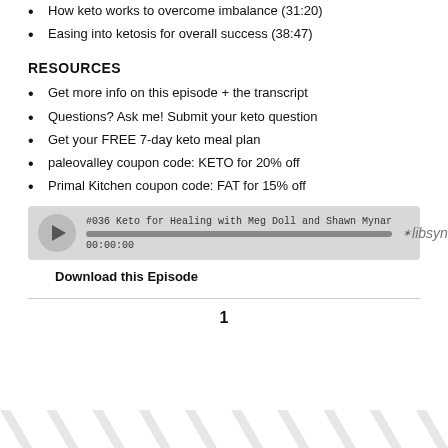How keto works to overcome imbalance (31:20)
Easing into ketosis for overall success (38:47)
RESOURCES
Get more info on this episode + the transcript
Questions? Ask me! Submit your keto question
Get your FREE 7-day keto meal plan
paleovalley coupon code: KETO for 20% off
Primal Kitchen coupon code: FAT for 15% off
[Figure (other): Audio player widget showing '#036 Keto for Healing with Meg Doll and Shawn Mynar', progress bar at 00:00:00, libsyn logo]
Download this Episode
1